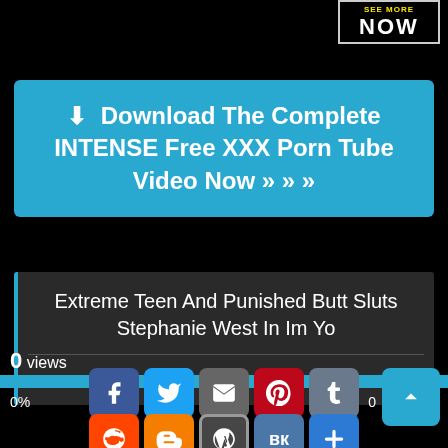[Figure (screenshot): Top-right promotional button with 'SEE MORE NOW' text in black box with white border]
⬇ Download The Complete INTENSE Free XXX Porn Tube Video Now » » »
Extreme Teen And Punished Butt Sluts Stephanie West In Im Yo
👍 Like  👎
0 views
0%
[Figure (screenshot): Social sharing icons row 1: Facebook, Twitter, Email, Pinterest, Tumblr]
[Figure (screenshot): Social sharing icons row 2: Reddit, Blogger, WordPress, VK, Plus/Share]
0